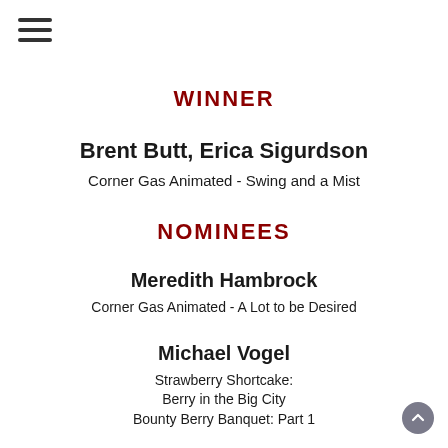[Figure (other): Hamburger menu icon (three horizontal lines)]
WINNER
Brent Butt, Erica Sigurdson
Corner Gas Animated - Swing and a Mist
NOMINEES
Meredith Hambrock
Corner Gas Animated - A Lot to be Desired
Michael Vogel
Strawberry Shortcake:
Berry in the Big City
Bounty Berry Banquet: Part 1